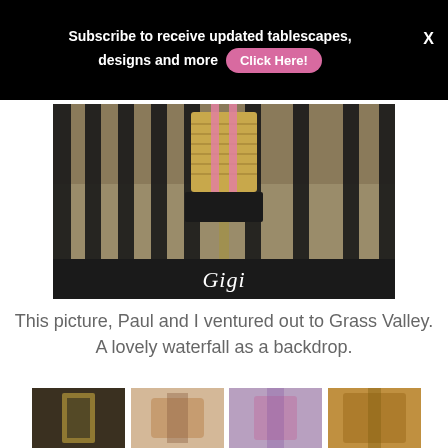Subscribe to receive updated tablescapes, designs and more  Click Here!  X
[Figure (photo): A woven/rattan handbag displayed against iron fence bars with garden background, branded 'Gigi' in script on black band at bottom]
This picture, Paul and I ventured out to Grass Valley.  A lovely waterfall as a backdrop.
[Figure (photo): Row of four thumbnail photos showing people at what appears to be a carousel or fair setting]